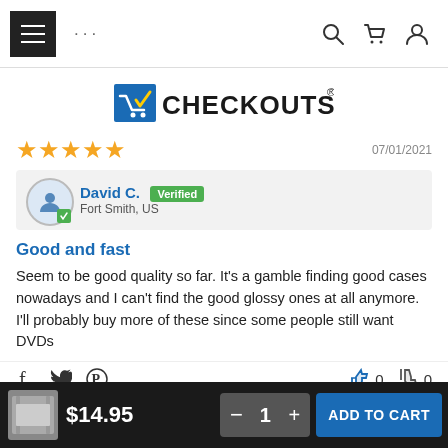[Figure (screenshot): Website navigation bar with hamburger menu, dots, search, cart, and user icons]
[Figure (logo): CheckOutStore logo with shopping cart icon]
07/01/2021
[Figure (infographic): 5 gold stars rating]
David C. Verified - Fort Smith, US
Good and fast
Seem to be good quality so far. It's a gamble finding good cases nowadays and I can't find the good glossy ones at all anymore. I'll probably buy more of these since some people still want DVDs
[Figure (infographic): Social share icons (Facebook, Twitter, Pinterest) and thumbs up/down vote buttons showing 0 and 0]
[Figure (infographic): 4 gold stars rating for second review dated 06/24/2021]
06/24/2021
[Figure (infographic): Bottom bar with product image, price $14.95, quantity control, and ADD TO CART button]